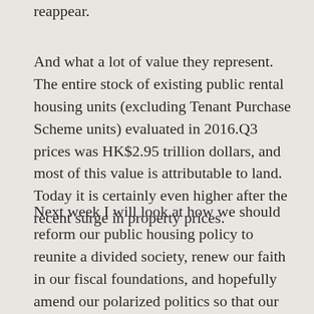reappear.
And what a lot of value they represent. The entire stock of existing public rental housing units (excluding Tenant Purchase Scheme units) evaluated in 2016.Q3 prices was HK$2.95 trillion dollars, and most of this value is attributable to land. Today it is certainly even higher after the recent surge in property prices.
Next week I will look at how we should reform our public housing policy to reunite a divided society, renew our faith in our fiscal foundations, and hopefully amend our polarized politics so that our economic future will not be held hostage again and